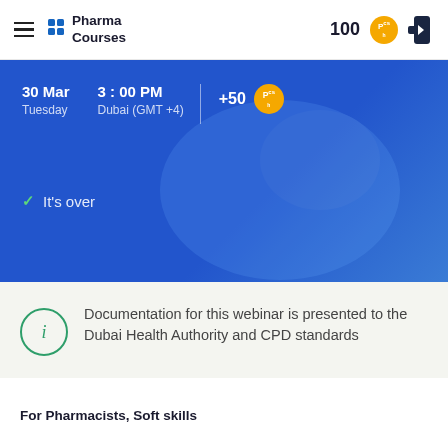Pharma Courses | 100
[Figure (screenshot): Blue hero banner showing webinar event date/time: 30 Mar, Tuesday, 3:00 PM, Dubai (GMT+4), with +50 points badge and 'It's over' status with checkmark]
Documentation for this webinar is presented to the Dubai Health Authority and CPD standards
For Pharmacists, Soft skills